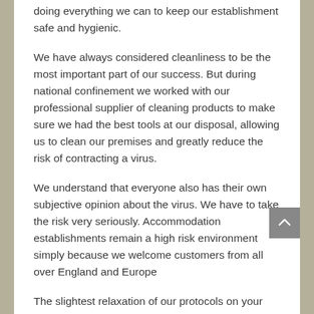doing everything we can to keep our establishment safe and hygienic.
We have always considered cleanliness to be the most important part of our success. But during national confinement we worked with our professional supplier of cleaning products to make sure we had the best tools at our disposal, allowing us to clean our premises and greatly reduce the risk of contracting a virus.
We understand that everyone also has their own subjective opinion about the virus. We have to take the risk very seriously. Accommodation establishments remain a high risk environment simply because we welcome customers from all over England and Europe
The slightest relaxation of our protocols on your part or on our part could lead to the closure of our